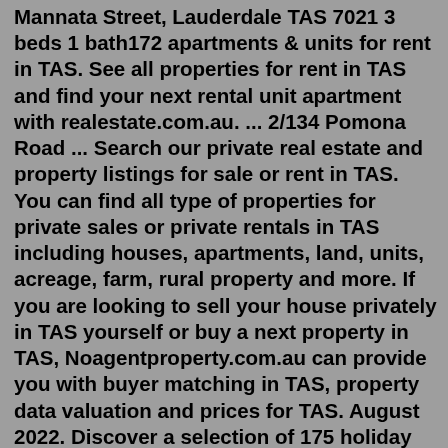Mannata Street, Lauderdale TAS 7021 3 beds 1 bath172 apartments & units for rent in TAS. See all properties for rent in TAS and find your next rental unit apartment with realestate.com.au. ... 2/134 Pomona Road ... Search our private real estate and property listings for sale or rent in TAS. You can find all type of properties for private sales or private rentals in TAS including houses, apartments, land, units, acreage, farm, rural property and more. If you are looking to sell your house privately in TAS yourself or buy a next property in TAS, Noagentproperty.com.au can provide you with buyer matching in TAS, property data valuation and prices for TAS. August 2022. Discover a selection of 175 holiday home rentals in Northwest Tasmania, AU that are perfect for your trip. Whether you're traveling with friends, family, or even pets, Stayz holiday homes have the best amenities for hanging out with the people that matter most, including internet/WiFi and pool. Prices start at AU$ 185 per night ... Bronte